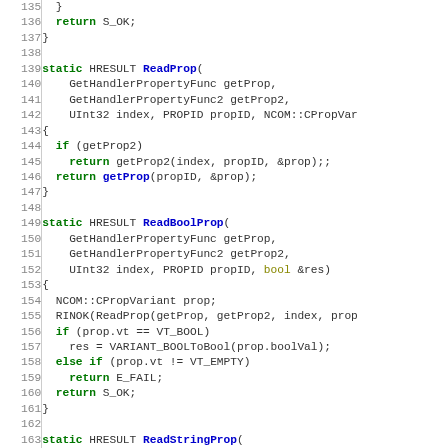[Figure (screenshot): Source code listing in C++ showing functions ReadProp, ReadBoolProp, and ReadStringProp with line numbers 135-165]